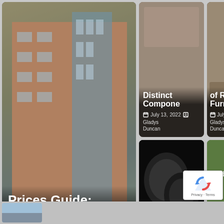[Figure (screenshot): Blog/article grid layout showing multiple article cards with images, titles, dates, and author names. Cards include: 'Prices Guide: Prices of Apartments for Sale in New Capital' (August 14, 2022, Gladys Duncan), a partially visible card about 'Distinct Components' (July 13, 2022, Gladys Duncan), a partially visible card about 'of Rattan Furniture' (July 4, 2022, Gladys Duncan), 'Types of Bucket Seats Explained' (May 31, 2022, Gladys Duncan), and a partially visible 'Daybed Guide: How to Create an Outdoor Bedroom' (May 31, 2022, Gladys Duncan). A reCAPTCHA badge is visible in the bottom-right corner.]